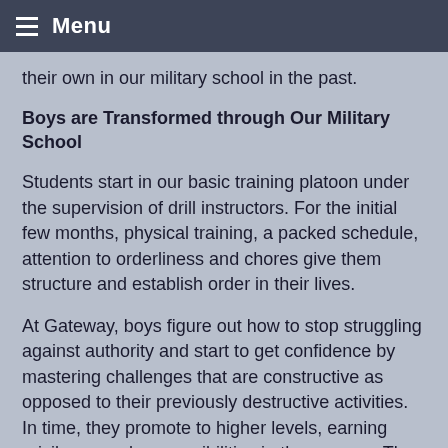Menu
their own in our military school in the past.
Boys are Transformed through Our Military School
Students start in our basic training platoon under the supervision of drill instructors. For the initial few months, physical training, a packed schedule, attention to orderliness and chores give them structure and establish order in their lives.
At Gateway, boys figure out how to stop struggling against authority and start to get confidence by mastering challenges that are constructive as opposed to their previously destructive activities. In time, they promote to higher levels, earning privileges and responsibilities in the process. The senior level military school cadet is allowed to do off-campus sports, outreaches, and travel.